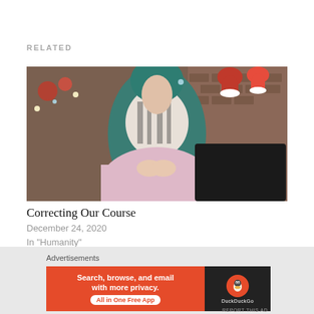RELATED
[Figure (photo): Person wearing a teal cardigan over a zebra-print top with a pink skirt, standing in front of a fireplace decorated with Christmas stockings and holiday decorations.]
Correcting Our Course
December 24, 2020
In "Humanity"
Advertisements
[Figure (screenshot): DuckDuckGo advertisement banner: orange-red left panel with text 'Search, browse, and email with more privacy. All in One Free App' and dark right panel with DuckDuckGo logo.]